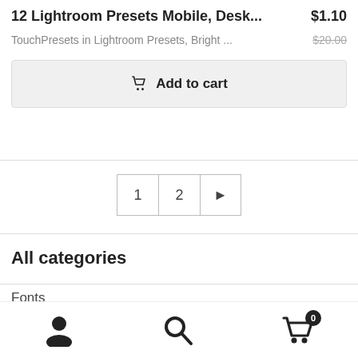12 Lightroom Presets Mobile, Desk...
$1.10
TouchPresets in Lightroom Presets, Bright ...
$20.00
Add to cart
1 2 ▶
All categories
Fonts